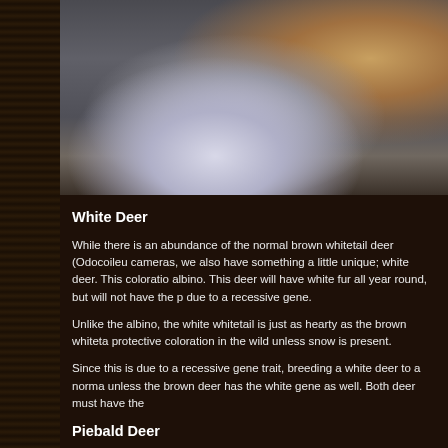[Figure (photo): Close-up photograph of a white deer (leucistic whitetail deer) showing white legs/body and antlers visible at upper right, against a dark rocky background]
White Deer
While there is an abundance of the normal brown whitetail deer (Odocoileu cameras, we also have something a little unique; white deer. This coloratio albino. This deer will have white fur all year round, but will not have the p due to a recessive gene.
Unlike the albino, the white whitetail is just as hearty as the brown whiteta protective coloration in the wild unless snow is present.
Since this is due to a recessive gene trait, breeding a white deer to a norma unless the brown deer has the white gene as well. Both deer must have the
Piebald Deer
A piebald whitetail deer (partially white) can also be seen here. These are a